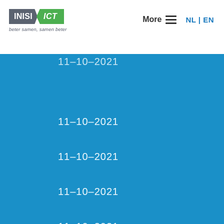INISI ICT | beter samen, samen beter | More | NL | EN
11–10–2021
11–10–2021
11–10–2021
11–10–2021
11–10–2021
11–10–2021